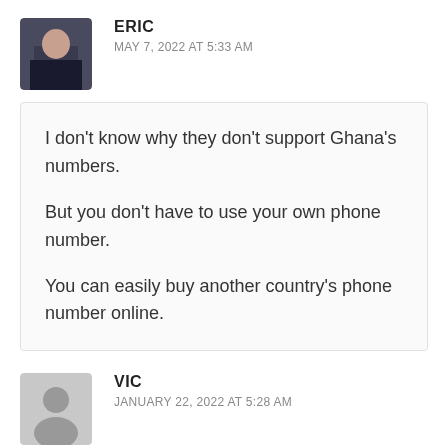ERIC
MAY 7, 2022 AT 5:33 AM
I don't know why they don't support Ghana's numbers.

But you don't have to use your own phone number.

You can easily buy another country's phone number online.
VIC
JANUARY 22, 2022 AT 5:28 AM